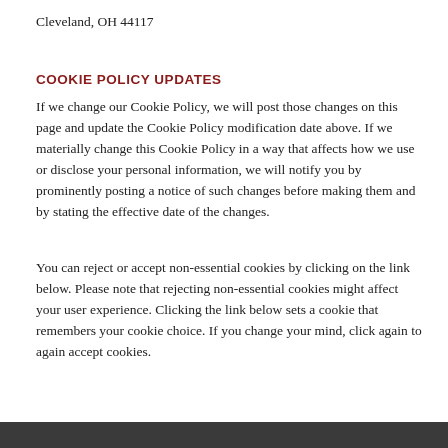Cleveland, OH 44117
COOKIE POLICY UPDATES
If we change our Cookie Policy, we will post those changes on this page and update the Cookie Policy modification date above. If we materially change this Cookie Policy in a way that affects how we use or disclose your personal information, we will notify you by prominently posting a notice of such changes before making them and by stating the effective date of the changes.
You can reject or accept non-essential cookies by clicking on the link below. Please note that rejecting non-essential cookies might affect your user experience. Clicking the link below sets a cookie that remembers your cookie choice. If you change your mind, click again to again accept cookies.